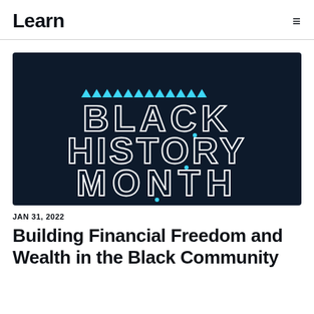Learn
[Figure (illustration): Black History Month promotional graphic with dark navy background, cyan triangle decorations at the top, and large geometric outlined text reading 'BLACK HISTORY MONTH' in a futuristic style.]
JAN 31, 2022
Building Financial Freedom and Wealth in the Black Community